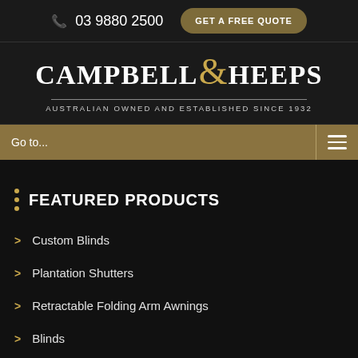03 9880 2500  GET A FREE QUOTE
[Figure (logo): Campbell & Heeps logo — Australian Owned and Established Since 1932]
Go to...
FEATURED PRODUCTS
Custom Blinds
Plantation Shutters
Retractable Folding Arm Awnings
Blinds